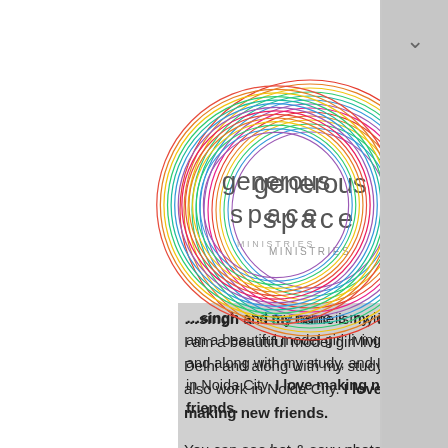[Figure (logo): Generous Space Ministries logo: colorful multi-colored concentric circle rings with text 'generous space MINISTRIES' in the center]
[Figure (other): Hamburger/menu icon with three horizontal lines]
singh and my name is my identity, I am a beautiful model girl living in Delhi and along with my study, and I also work in Noida City. I love making new friends.
You can see hot & sexy photos if you want to spend some time with me, then visit the website foot and call me to thank you Noida Escorts, Escort Service in Noida, escort girls in Noida, call girls in Noida